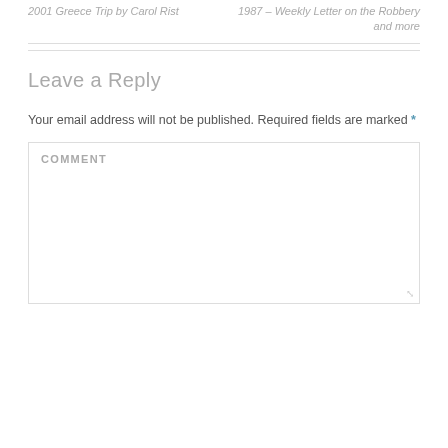2001 Greece Trip by Carol Rist
1987 – Weekly Letter on the Robbery and more
Leave a Reply
Your email address will not be published. Required fields are marked *
COMMENT